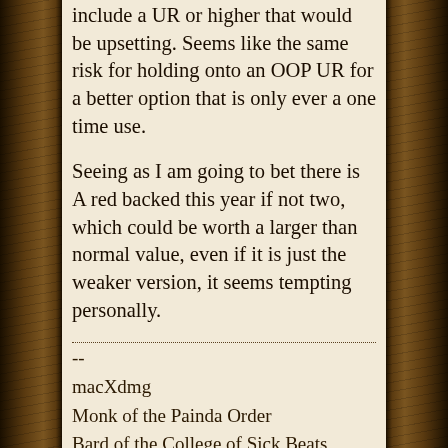include a UR or higher that would be upsetting. Seems like the same risk for holding onto an OOP UR for a better option that is only ever a one time use.
Seeing as I am going to bet there is A red backed this year if not two, which could be worth a larger than normal value, even if it is just the weaker version, it seems tempting personally.
--
macXdmg
Monk of the Painda Order
Bard of the College of Sick Beats
Trade thread truedungeon.com/forum?view=topic&catid=61&id=253064#406060